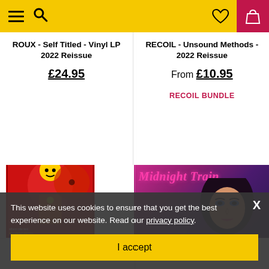Navigation bar with menu, search, wishlist, and basket icons
PRE-ORDER** THE ORDER - BY ROUX - Self Titled - Vinyl LP 2022 Reissue
£24.95
THE ORDER - RECOIL - Unsound Methods - 2022 Reissue
From £10.95
RECOIL BUNDLE
[Figure (photo): Album artwork for Bruce Dickinson release - red illustrated cover with colorful jester/character art]
[Figure (photo): Midnight Train album cover - woman with dark hair against purple/magenta background with 'Midnight Train' text in pink italic font]
This website uses cookies to ensure that you get the best experience on our website. Read our privacy policy.
I accept
**PRE-ORDER** BRUCE DICKINSON -
**PRE-ORDER** JORJA CHALMERS - Midnight